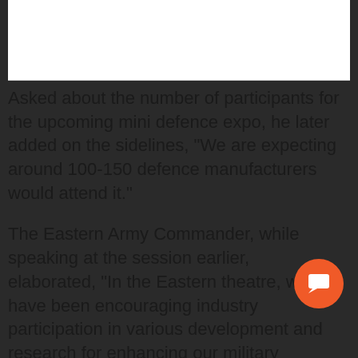[Figure (other): White card/box at top of page, partially visible]
Asked about the number of participants for the upcoming mini defence expo, he later added on the sidelines, "We are expecting around 100-150 defence manufacturers would attend it."
The Eastern Army Commander, while speaking at the session earlier, elaborated, "In the Eastern theatre, we have been encouraging industry participation in various development and research for enhancing our military capability. We a continuous process wherein we exa...